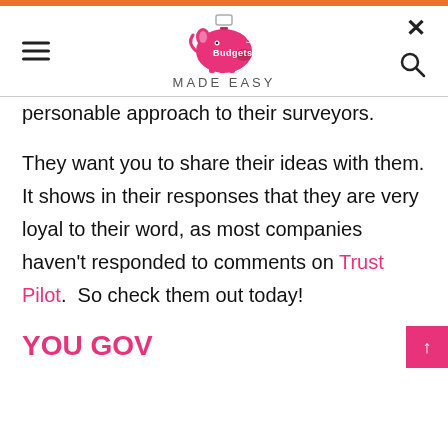Budgets Made Easy
personable approach to their surveyors.
They want you to share their ideas with them. It shows in their responses that they are very loyal to their word, as most companies haven't responded to comments on Trust Pilot.  So check them out today!
YOU GOV